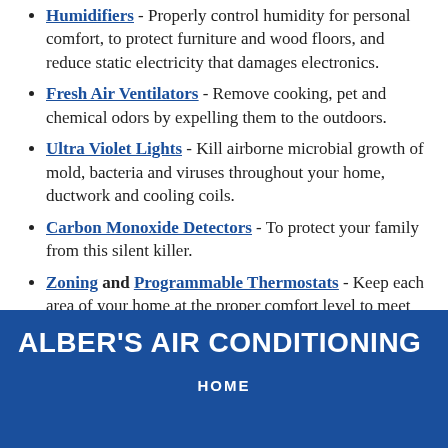Humidifiers - Properly control humidity for personal comfort, to protect furniture and wood floors, and reduce static electricity that damages electronics.
Fresh Air Ventilators - Remove cooking, pet and chemical odors by expelling them to the outdoors.
Ultra Violet Lights - Kill airborne microbial growth of mold, bacteria and viruses throughout your home, ductwork and cooling coils.
Carbon Monoxide Detectors - To protect your family from this silent killer.
Zoning and Programmable Thermostats - Keep each area of your home at the proper comfort level to meet your lifestyle.
ALBER'S AIR CONDITIONING
HOME